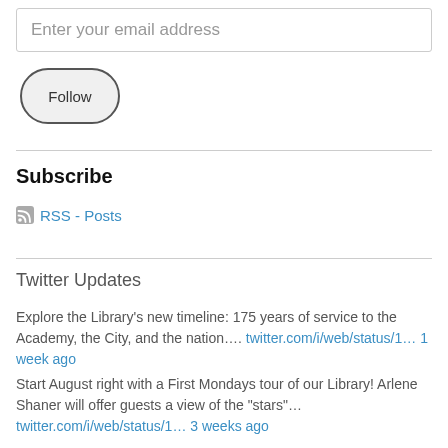Enter your email address
Follow
Subscribe
RSS - Posts
Twitter Updates
Explore the Library's new timeline: 175 years of service to the Academy, the City, and the nation…. twitter.com/i/web/status/1… 1 week ago
Start August right with a First Mondays tour of our Library! Arlene Shaner will offer guests a view of the "stars"… twitter.com/i/web/status/1… 3 weeks ago